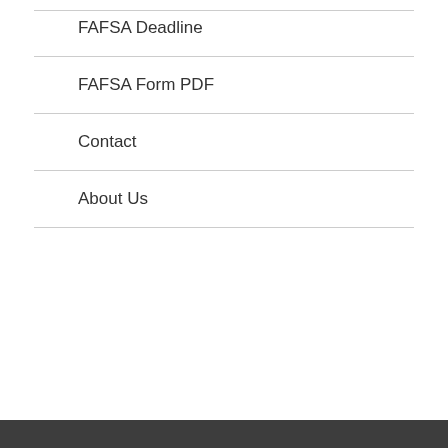FAFSA Deadline
FAFSA Form PDF
Contact
About Us